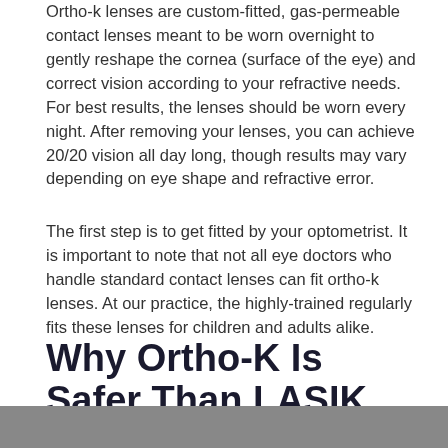Ortho-k lenses are custom-fitted, gas-permeable contact lenses meant to be worn overnight to gently reshape the cornea (surface of the eye) and correct vision according to your refractive needs. For best results, the lenses should be worn every night. After removing your lenses, you can achieve 20/20 vision all day long, though results may vary depending on eye shape and refractive error.
The first step is to get fitted by your optometrist. It is important to note that not all eye doctors who handle standard contact lenses can fit ortho-k lenses. At our practice, the highly-trained regularly fits these lenses for children and adults alike.
Why Ortho-K Is Safer Than LASIK
[Figure (photo): Bottom strip of a photograph, partially visible at the bottom of the page]